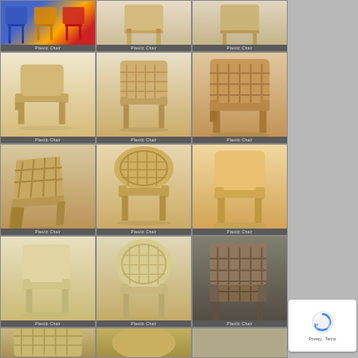[Figure (photo): Grid of plastic chair product images in 5 rows and 3 columns. Row 1: colorful plastic chairs (blue/orange/red), beige plastic chair front view, beige plastic chair front view. Rows 2-4: various beige/tan plastic armchair product renders from different angles. Row 5: partial view of two more chairs. Each cell labeled 'Plastic Chair'. Right side has a gray panel with a reCAPTCHA widget showing 'Privacy · Terms'.]